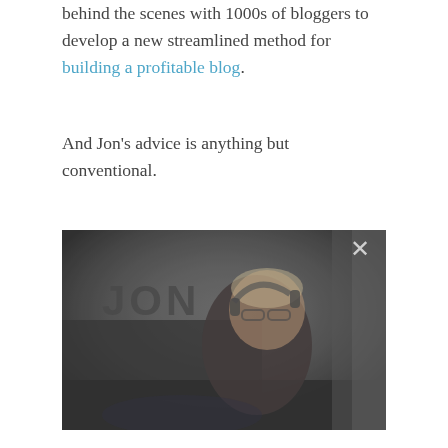behind the scenes with 1000s of bloggers to develop a new streamlined method for building a profitable blog.
And Jon's advice is anything but conventional.
[Figure (photo): A blurry video screenshot showing a person (Jon) wearing glasses and headphones, sitting in front of a dark background with the text 'JON' partially visible. There is a close (X) button in the upper right corner of the video frame.]